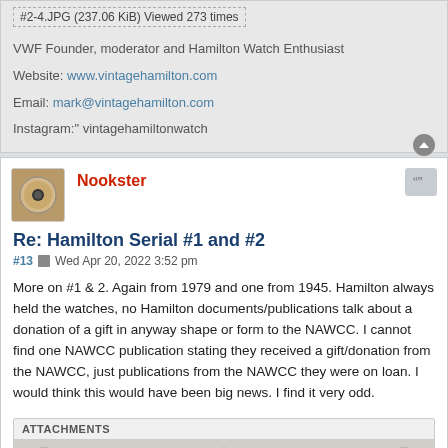#2-4.JPG (237.06 KiB) Viewed 273 times
VWF Founder, moderator and Hamilton Watch Enthusiast
Website: www.vintagehamilton.com
Email: mark@vintagehamilton.com
Instagram:" vintagehamiltonwatch
Nookster
Re: Hamilton Serial #1 and #2
#13  Wed Apr 20, 2022 3:52 pm
More on #1 & 2. Again from 1979 and one from 1945. Hamilton always held the watches, no Hamilton documents/publications talk about a donation of a gift in anyway shape or form to the NAWCC. I cannot find one NAWCC publication stating they received a gift/donation from the NAWCC, just publications from the NAWCC they were on loan. I would think this would have been big news. I find it very odd.
ATTACHMENTS
[Figure (photo): Partial view of a document with decorative script text, appears to be a certificate or publication cover with circular emblems visible on sides]